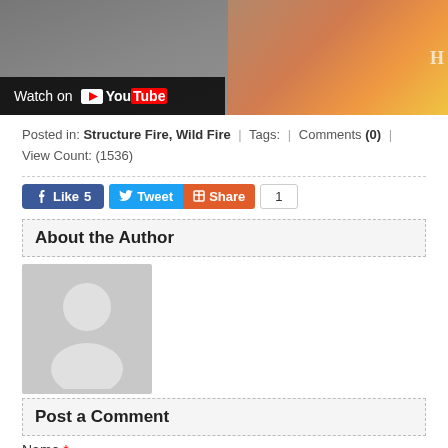[Figure (screenshot): YouTube video thumbnail showing a structure fire/wildfire with 'Watch on YouTube' overlay]
Posted in: Structure Fire, Wild Fire | Tags: | Comments (0) | View Count: (1536)
[Figure (other): Social sharing buttons: Like 5, Tweet, Share 1]
About the Author
[Figure (photo): Default author avatar placeholder image]
Post a Comment
Name *